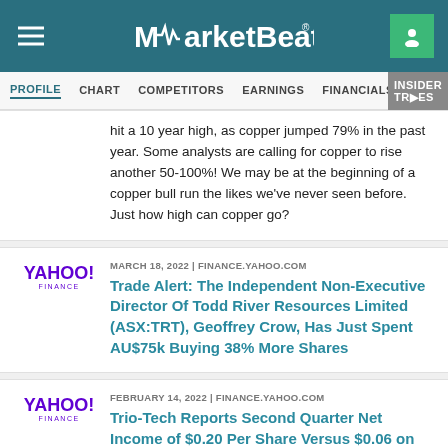MarketBeat
PROFILE | CHART | COMPETITORS | EARNINGS | FINANCIALS | INSIDER TRADES
hit a 10 year high, as copper jumped 79% in the past year. Some analysts are calling for copper to rise another 50-100%! We may be at the beginning of a copper bull run the likes we've never seen before. Just how high can copper go?
MARCH 18, 2022 | FINANCE.YAHOO.COM
Trade Alert: The Independent Non-Executive Director Of Todd River Resources Limited (ASX:TRT), Geoffrey Crow, Has Just Spent AU$75k Buying 38% More Shares
FEBRUARY 14, 2022 | FINANCE.YAHOO.COM
Trio-Tech Reports Second Quarter Net Income of $0.20 Per Share Versus $0.06 on 33% Increase in Revenue